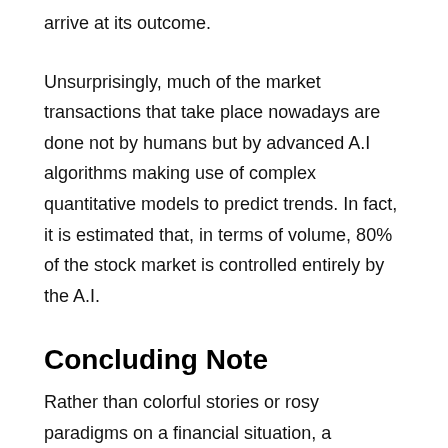arrive at its outcome.
Unsurprisingly, much of the market transactions that take place nowadays are done not by humans but by advanced A.I algorithms making use of complex quantitative models to predict trends. In fact, it is estimated that, in terms of volume, 80% of the stock market is controlled entirely by the A.I.
Concluding Note
Rather than colorful stories or rosy paradigms on a financial situation, a qualitative approach is all about taking into account probabilities to make decisions. The smart way to predict the market is by betting on